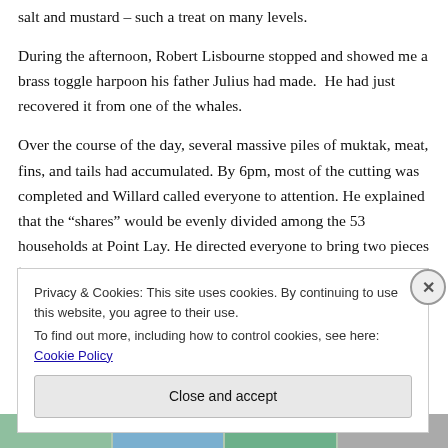salt and mustard – such a treat on many levels.
During the afternoon, Robert Lisbourne stopped and showed me a brass toggle harpoon his father Julius had made.  He had just recovered it from one of the whales.
Over the course of the day, several massive piles of muktak, meat, fins, and tails had accumulated. By 6pm, most of the cutting was completed and Willard called everyone to attention. He explained that the “shares” would be evenly divided among the 53 households at Point Lay. He directed everyone to bring two pieces to
Privacy & Cookies: This site uses cookies. By continuing to use this website, you agree to their use.
To find out more, including how to control cookies, see here: Cookie Policy
Close and accept
[Figure (photo): Partial image strip at bottom of page showing colorful outdoor scene]